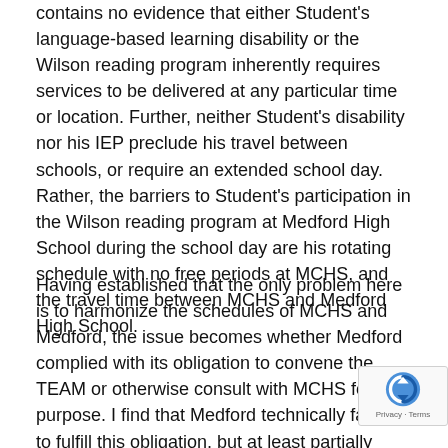contains no evidence that either Student's language-based learning disability or the Wilson reading program inherently requires services to be delivered at any particular time or location. Further, neither Student's disability nor his IEP preclude his travel between schools, or require an extended school day. Rather, the barriers to Student's participation in the Wilson reading program at Medford High School during the school day are his rotating schedule with no free periods at MCHS, and the travel time between MCHS and Medford High School.
Having established that the only problem here is to harmonize the schedules of MCHS and Medford, the issue becomes whether Medford complied with its obligation to convene the TEAM or otherwise consult with MCHS for this purpose. I find that Medford technically failed to fulfill this obligation, but at least partially cured that failure by its letter to Mother dated October 5, 2... Once Medford was on notice that Student would be